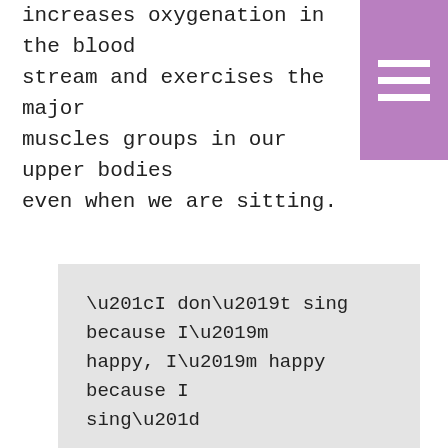increases oxygenation in the bloodstream and exercises the major muscles groups in our upper bodies even when we are sitting.
“I don’t sing because I’m happy, I’m happy because I sing”

Mia Whitfield
8 reasons to start singing today!
Singing rewires the brain to release the happy hormone Oxytocin